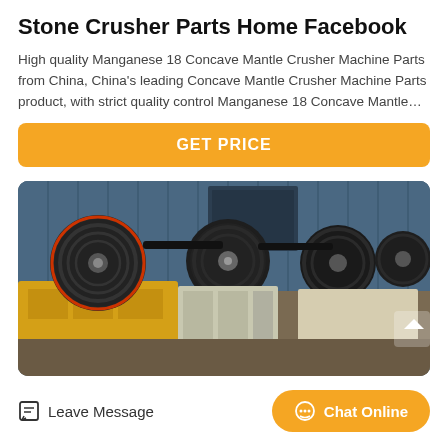Stone Crusher Parts Home Facebook
High quality Manganese 18 Concave Mantle Crusher Machine Parts from China, China’s leading Concave Mantle Crusher Machine Parts product, with strict quality control Manganese 18 Concave Mantle…
GET PRICE
[Figure (photo): Industrial stone crusher machines with yellow frames and black pulley wheels/belts in a factory setting with blue corrugated metal walls]
Leave Message
Chat Online